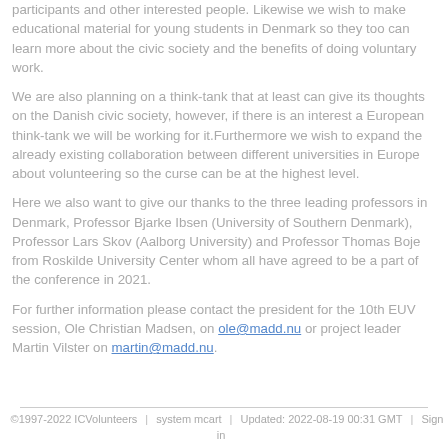participants and other interested people. Likewise we wish to make educational material for young students in Denmark so they too can learn more about the civic society and the benefits of doing voluntary work.
We are also planning on a think-tank that at least can give its thoughts on the Danish civic society, however, if there is an interest a European think-tank we will be working for it.Furthermore we wish to expand the already existing collaboration between different universities in Europe about volunteering so the curse can be at the highest level.
Here we also want to give our thanks to the three leading professors in Denmark, Professor Bjarke Ibsen (University of Southern Denmark), Professor Lars Skov (Aalborg University) and Professor Thomas Boje from Roskilde University Center whom all have agreed to be a part of the conference in 2021.
For further information please contact the president for the 10th EUV session, Ole Christian Madsen, on ole@madd.nu or project leader Martin Vilster on martin@madd.nu.
©1997-2022 ICVolunteers | system mcart | Updated: 2022-08-19 00:31 GMT | Sign in